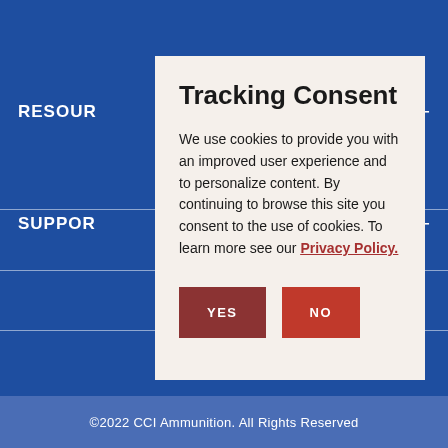RESOURCES
SUPPORT
Tracking Consent
We use cookies to provide you with an improved user experience and to personalize content. By continuing to browse this site you consent to the use of cookies. To learn more see our Privacy Policy.
YES
NO
©2022 CCI Ammunition. All Rights Reserved